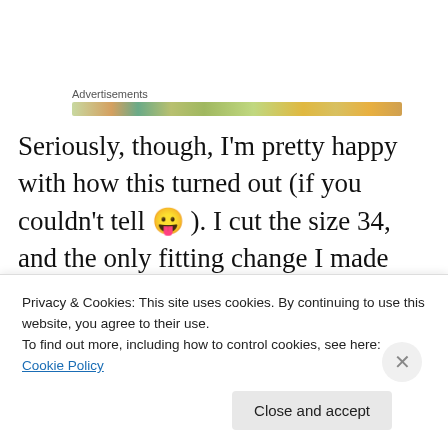[Figure (other): Advertisements banner with colorful image strip]
Seriously, though, I'm pretty happy with how this turned out (if you couldn't tell 😛 ). I cut the size 34, and the only fitting change I made was to remove a little bit of length from the peplum and sleeves, because I am so short. Other than that, it fits pretty well! I'm surprised at much much I like the collar – I was afraid it would look flat and
Privacy & Cookies: This site uses cookies. By continuing to use this website, you agree to their use.
To find out more, including how to control cookies, see here: Cookie Policy